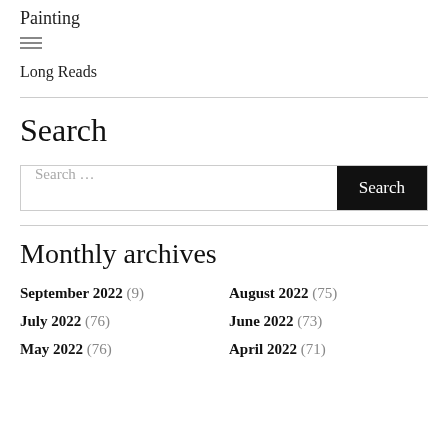Painting
≡
Long Reads
Search
Search ...
Monthly archives
September 2022 (9)
August 2022 (75)
July 2022 (76)
June 2022 (73)
May 2022 (76)
April 2022 (71)